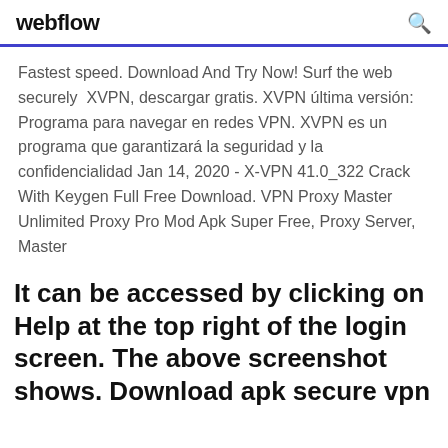webflow
Fastest speed. Download And Try Now! Surf the web securely  XVPN, descargar gratis. XVPN última versión: Programa para navegar en redes VPN. XVPN es un programa que garantizará la seguridad y la confidencialidad Jan 14, 2020 - X-VPN 41.0_322 Crack With Keygen Full Free Download. VPN Proxy Master Unlimited Proxy Pro Mod Apk Super Free, Proxy Server, Master
It can be accessed by clicking on Help at the top right of the login screen. The above screenshot shows. Download apk secure vpn